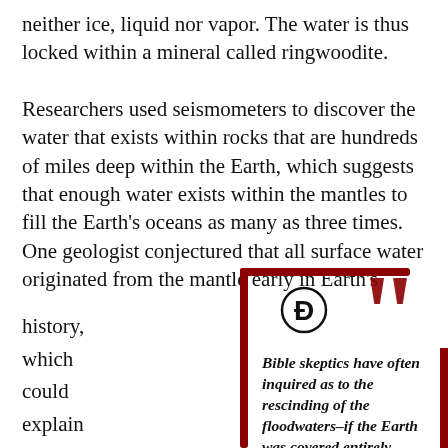neither ice, liquid nor vapor. The water is thus locked within a mineral called ringwoodite. Researchers used seismometers to discover the water that exists within rocks that are hundreds of miles deep within the Earth, which suggests that enough water exists within the mantles to fill the Earth's oceans as many as three times. One geologist conjectured that all surface water originated from the mantle early in Earth's history, which could explain how oceans
[Figure (illustration): A pull quote box with dark red border on top and left sides, large dark red closing quotation marks in top right, a circular logo/icon in upper left area, and italic bold text reading: Bible skeptics have often inquired as to the rescinding of the floodwaters–if the Earth was covered entirely]